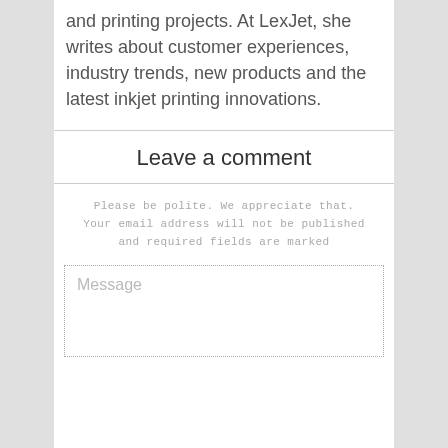wide variety of publications and printing projects. At LexJet, she writes about customer experiences, industry trends, new products and the latest inkjet printing innovations.
Leave a comment
Please be polite. We appreciate that. Your email address will not be published and required fields are marked
Message